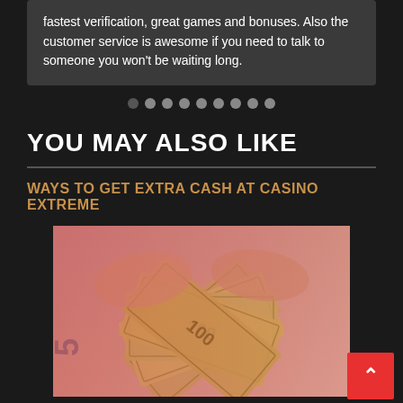fastest verification, great games and bonuses. Also the customer service is awesome if you need to talk to someone you won't be waiting long.
YOU MAY ALSO LIKE
WAYS TO GET EXTRA CASH AT CASINO EXTREME
[Figure (photo): Hands holding and fanning out US hundred dollar bills, with a reddish overlay tint]